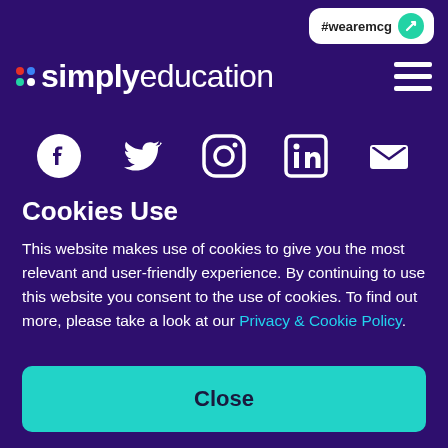#wearemcg
[Figure (logo): Simply Education logo with coloured dot grid and text 'simplyeducation' and hamburger menu icon]
[Figure (infographic): Social media icons row: Facebook, Twitter, Instagram, LinkedIn, Email]
Cookies Use
This website makes use of cookies to give you the most relevant and user-friendly experience. By continuing to use this website you consent to the use of cookies. To find out more, please take a look at our Privacy & Cookie Policy.
Close